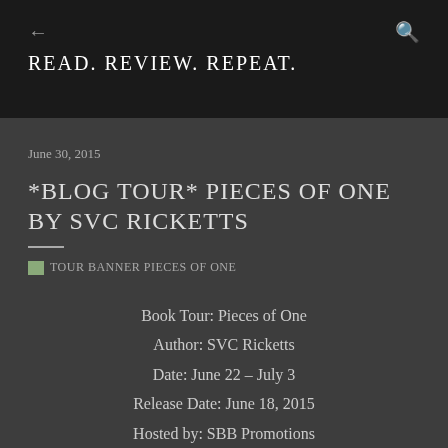READ. REVIEW. REPEAT.
June 30, 2015
*BLOG TOUR* PIECES OF ONE BY SVC RICKETTS
[Figure (photo): Broken image placeholder for TOUR BANNER PIECES OF ONE]
Book Tour: Pieces of One
Author: SVC Ricketts
Date: June 22 – July 3
Release Date: June 18, 2015
Hosted by: SBB Promotions